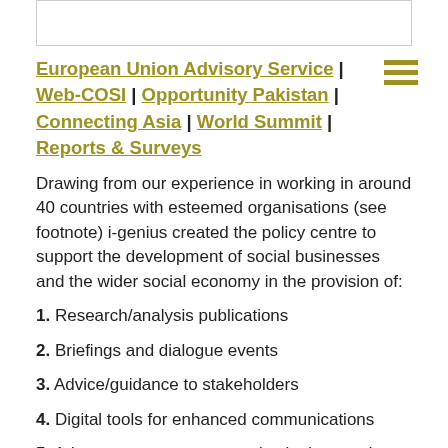[Figure (other): Top navigation bar border area]
[Figure (other): Hamburger menu icon with three horizontal olive/gold lines]
European Union Advisory Service | Web-COSI | Opportunity Pakistan | Connecting Asia | World Summit | Reports & Surveys
Drawing from our experience in working in around 40 countries with esteemed organisations (see footnote) i-genius created the policy centre to support the development of social businesses and the wider social economy in the provision of:
1. Research/analysis publications
2. Briefings and dialogue events
3. Advice/guidance to stakeholders
4. Digital tools for enhanced communications
5. Advocacy to governments, institutions and opinion